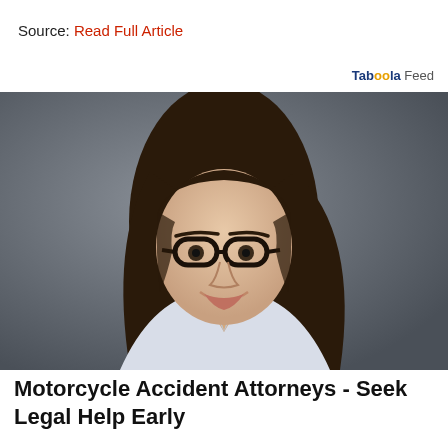Source: Read Full Article
Taboola Feed
[Figure (photo): Professional headshot of a young woman with long dark hair, glasses, and a light blazer, smiling against a dark grey background — likely a lawyer or attorney promotional image.]
Motorcycle Accident Attorneys - Seek Legal Help Early